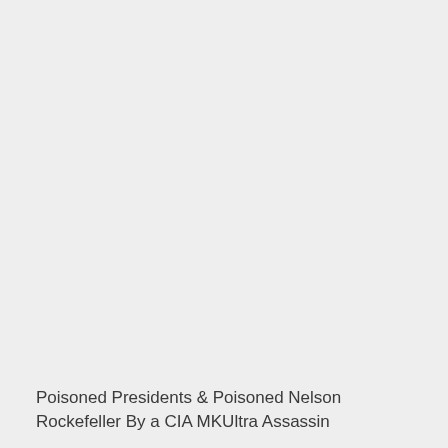Poisoned Presidents & Poisoned Nelson Rockefeller By a CIA MKUltra Assassin